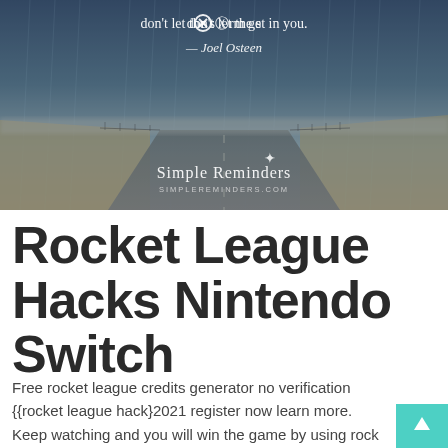[Figure (photo): Inspirational quote image with a rainy road scene. Text reads: 'don't let the storm get in you.' with a circled X replacing the 'o' in storm. Author credit: — Joel Osteen. Brand watermark: Simple Reminders / SIMPLEREMINDERS.COM]
Rocket League Hacks Nintendo Switch
Free rocket league credits generator no verification {{rocket league hack}2021 register now learn more. Keep watching and you will win the game by using rock league cheat codes.